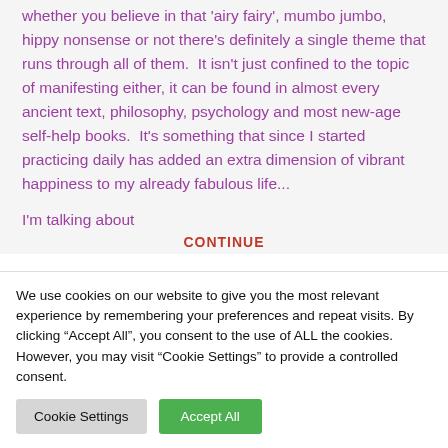whether you believe in that 'airy fairy', mumbo jumbo, hippy nonsense or not there's definitely a single theme that runs through all of them.  It isn't just confined to the topic of manifesting either, it can be found in almost every ancient text, philosophy, psychology and most new-age self-help books.  It's something that since I started practicing daily has added an extra dimension of vibrant happiness to my already fabulous life...
I'm talking about
CONTINUE
We use cookies on our website to give you the most relevant experience by remembering your preferences and repeat visits. By clicking "Accept All", you consent to the use of ALL the cookies. However, you may visit "Cookie Settings" to provide a controlled consent.